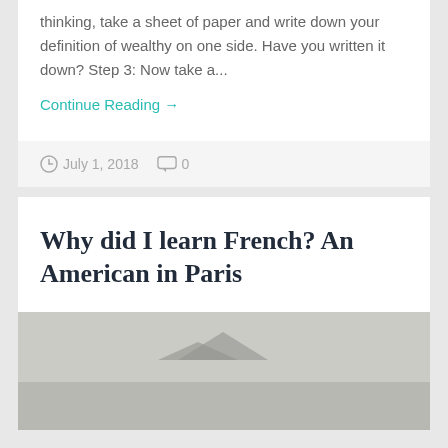thinking, take a sheet of paper and write down your definition of wealthy on one side. Have you written it down? Step 3: Now take a...
Continue Reading →
July 1, 2018   0
Why did I learn French? An American in Paris
[Figure (photo): Outdoor sky/landscape photograph, grey overcast sky with faint landscape silhouette]